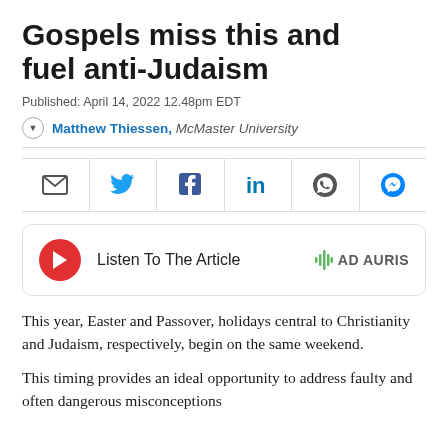Gospels miss this and fuel anti-Judaism
Published: April 14, 2022 12.48pm EDT
Matthew Thiessen, McMaster University
[Figure (infographic): Social sharing icons: email, Twitter, Facebook, LinkedIn, WhatsApp, Messenger]
[Figure (infographic): Audio player box with red play button, text 'Listen To The Article', and AD AURIS branding with waveform icon]
This year, Easter and Passover, holidays central to Christianity and Judaism, respectively, begin on the same weekend.
This timing provides an ideal opportunity to address faulty and often dangerous misconceptions about the nature of Christianity, from...